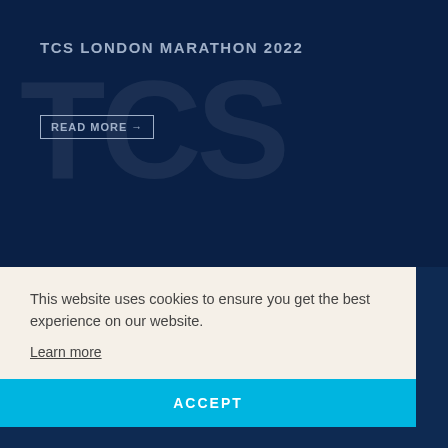[Figure (screenshot): Dark navy blue background with large ghost TCS letters watermark]
TCS LONDON MARATHON 2022
READ MORE →
This website uses cookies to ensure you get the best experience on our website.
Learn more
ACCEPT